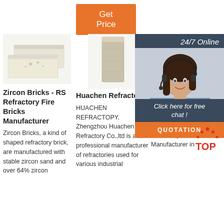[Figure (other): Orange 'Get Price' button]
[Figure (photo): Two white/cream zircon refractory bricks stacked]
Zircon Bricks - RS Refractory Fire Bricks Manufacturer
Zircon Bricks, a kind of shaped refractory brick, are manufactured with stable zircon sand and over 64% zircon
[Figure (photo): Tall rectangular grey refractory brick standing upright]
Huachen Refractory
HUACHEN REFRACTOPY. Zhengzhou Huachen Refractory Co.,ltd is a professional manufacturer of refractories used for various industrial
[Figure (photo): Silica mullite refractory brick, brownish color]
Silica Brick Refractory Bricks Manufacturer
Silica Mullite Bricks are manufactured by RS Refractory Bricks Manufacturer in
[Figure (other): 24/7 Online chat overlay with woman wearing headset, dark blue background, 'Click here for free chat!' text, orange QUOTATION button, and TOP logo]